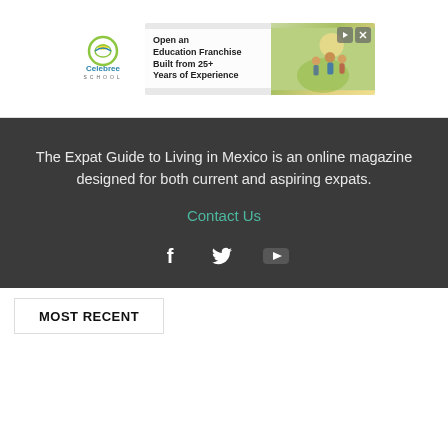[Figure (logo): Celebree School logo with circular icon and text]
[Figure (infographic): Advertisement banner: Open an Education Franchise Built from 25+ Years of Experience, with image of family outdoors]
The Expat Guide to Living in Mexico is an online magazine designed for both current and aspiring expats.
Contact Us
[Figure (infographic): Social media icons: Facebook, Twitter, YouTube]
MOST RECENT